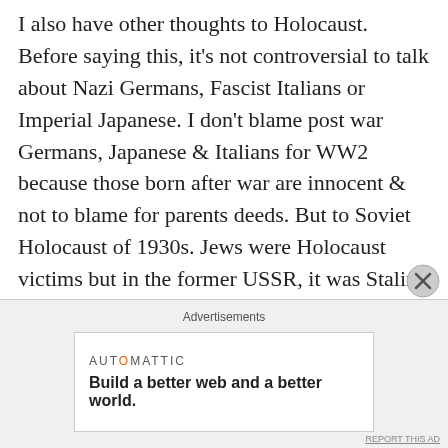I also have other thoughts to Holocaust. Before saying this, it's not controversial to talk about Nazi Germans, Fascist Italians or Imperial Japanese. I don't blame post war Germans, Japanese & Italians for WW2 because those born after war are innocent & not to blame for parents deeds. But to Soviet Holocaust of 1930s. Jews were Holocaust victims but in the former USSR, it was Stalin's Jewish henchmen who committed the Soviet Holocaust which took more lives-yes there were many non-Jewish henchmen but it's controversial to talk of first. #skilled in the Holodomor are way more-people were starved and worked to death, tortured, shot and killed in Dubno, Kolyma, Krasnogorsk + other Soviet
Advertisements
[Figure (other): Advertisement banner with AUTOMATTIC logo and tagline 'Build a better web and a better world.']